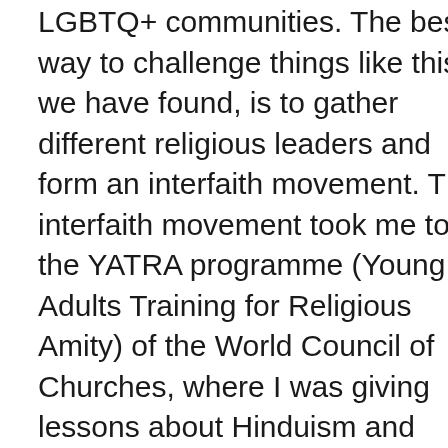LGBTQ+ communities. The best way to challenge things like this, we have found, is to gather different religious leaders and form an interfaith movement. The interfaith movement took me to the YATRA programme (Young Adults Training for Religious Amity) of the World Council of Churches, where I was giving lessons about Hinduism and talking about interfaith.